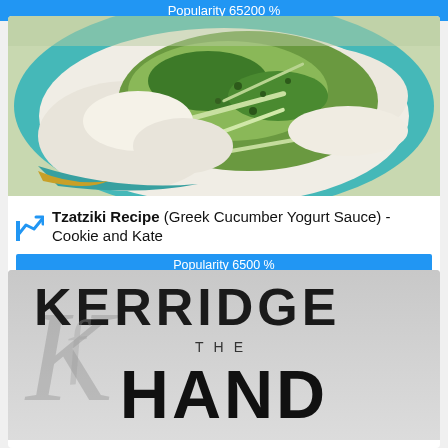Popularity 65200 %
[Figure (photo): Close-up photo of a teal/turquoise bowl containing tzatziki sauce being mixed - shredded cucumber, fresh dill, and white Greek yogurt visible]
Tzatziki Recipe (Greek Cucumber Yogurt Sauce) - Cookie and Kate
Popularity 6500 %
[Figure (photo): Partial view of a book cover showing large black bold letters 'KERRIDGE THE HAND' on grey/silver background with decorative italic letter overlay]